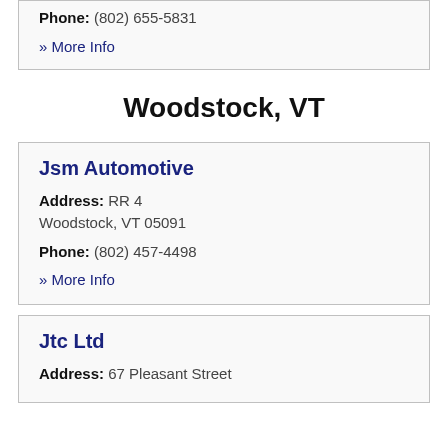Phone: (802) 655-5831
» More Info
Woodstock, VT
Jsm Automotive
Address: RR 4
Woodstock, VT 05091
Phone: (802) 457-4498
» More Info
Jtc Ltd
Address: 67 Pleasant Street